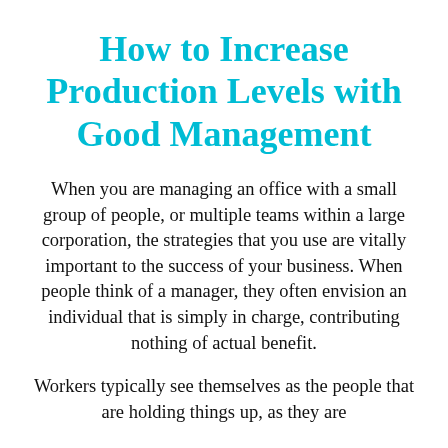How to Increase Production Levels with Good Management
When you are managing an office with a small group of people, or multiple teams within a large corporation, the strategies that you use are vitally important to the success of your business. When people think of a manager, they often envision an individual that is simply in charge, contributing nothing of actual benefit.
Workers typically see themselves as the people that are holding things up, as they are...